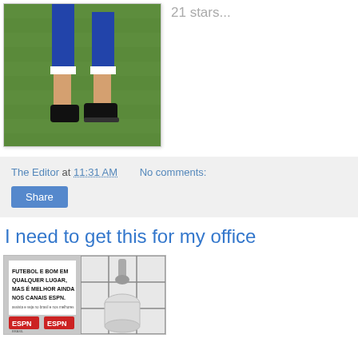[Figure (photo): Soccer player in blue uniform, legs and cleats visible on green grass field]
21 stars...
The Editor at 11:31 AM   No comments:
Share
I need to get this for my office
[Figure (photo): ESPN branded urinal with Spanish text 'Futebol e bom em qualquer lugar, mas e melhor ainda nos canais ESPN']